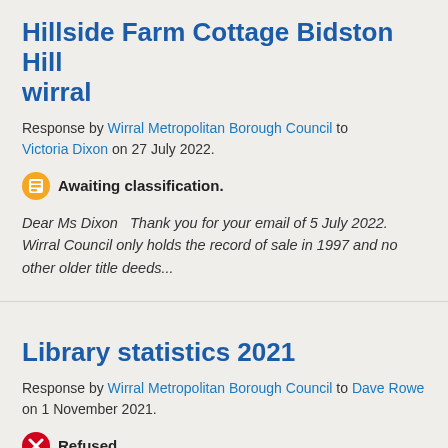Hillside Farm Cottage Bidston Hill wirral
Response by Wirral Metropolitan Borough Council to Victoria Dixon on 27 July 2022.
Awaiting classification.
Dear Ms Dixon  Thank you for your email of 5 July 2022.   Wirral Council only holds the record of sale in 1997 and no other older title deeds...
Library statistics 2021
Response by Wirral Metropolitan Borough Council to Dave Rowe on 1 November 2021.
Refused.
Dear Mr Rowe We write further to your recent FOI request shown below and apologise for the delay in responding.  1.  Does the